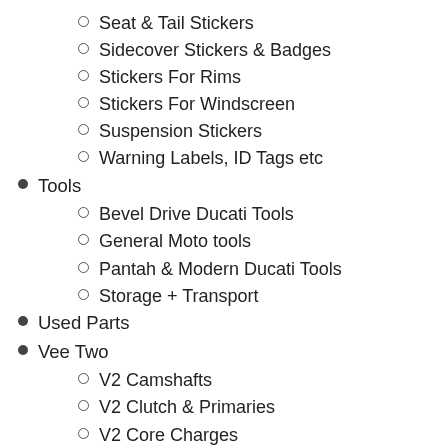Seat & Tail Stickers
Sidecover Stickers & Badges
Stickers For Rims
Stickers For Windscreen
Suspension Stickers
Warning Labels, ID Tags etc
Tools
Bevel Drive Ducati Tools
General Moto tools
Pantah & Modern Ducati Tools
Storage + Transport
Used Parts
Vee Two
V2 Camshafts
V2 Clutch & Primaries
V2 Core Charges
V2 Crankshaft
V2 Gaskets
V2 Gearbox